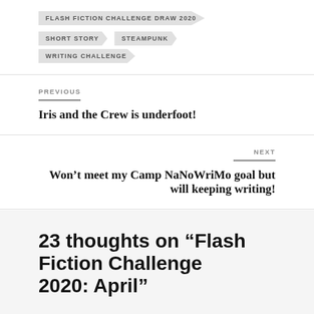FLASH FICTION CHALLENGE DRAW 2020
SHORT STORY
STEAMPUNK
WRITING CHALLENGE
PREVIOUS
Iris and the Crew is underfoot!
NEXT
Won’t meet my Camp NaNoWriMo goal but will keeping writing!
23 thoughts on “Flash Fiction Challenge 2020: April”